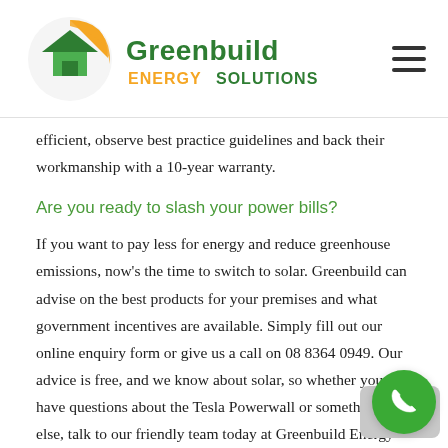Greenbuild Energy Solutions logo and navigation
efficient, observe best practice guidelines and back their workmanship with a 10-year warranty.
Are you ready to slash your power bills?
If you want to pay less for energy and reduce greenhouse emissions, now's the time to switch to solar. Greenbuild can advise on the best products for your premises and what government incentives are available. Simply fill out our online enquiry form or give us a call on 08 8364 0949. Our advice is free, and we know about solar, so whether you have questions about the Tesla Powerwall or something else, talk to our friendly team today at Greenbuild Energy Solutions